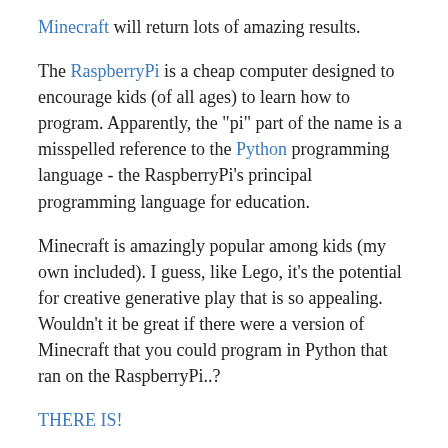Minecraft will return lots of amazing results.
The RaspberryPi is a cheap computer designed to encourage kids (of all ages) to learn how to program. Apparently, the "pi" part of the name is a misspelled reference to the Python programming language - the RaspberryPi's principal programming language for education.
Minecraft is amazingly popular among kids (my own included). I guess, like Lego, it's the potential for creative generative play that is so appealing. Wouldn't it be great if there were a version of Minecraft that you could program in Python that ran on the RaspberryPi..?
THERE IS!
I'm currently at PyconUS 2013 in California, every attendee has been given a RaspberryPi and there's a RaspberryPi lab in which attendees are encouraged to